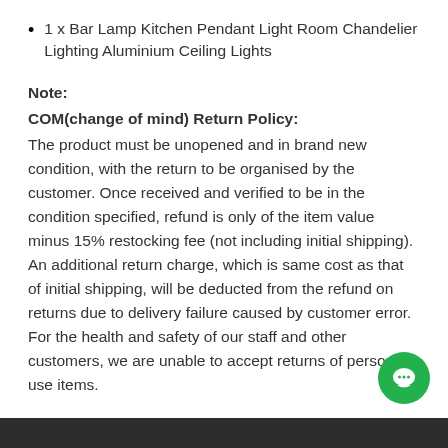1 x Bar Lamp Kitchen Pendant Light Room Chandelier Lighting Aluminium Ceiling Lights
Note:
COM(change of mind) Return Policy:
The product must be unopened and in brand new condition, with the return to be organised by the customer. Once received and verified to be in the condition specified, refund is only of the item value minus 15% restocking fee (not including initial shipping). An additional return charge, which is same cost as that of initial shipping, will be deducted from the refund on returns due to delivery failure caused by customer error. For the health and safety of our staff and other customers, we are unable to accept returns of personal use items.